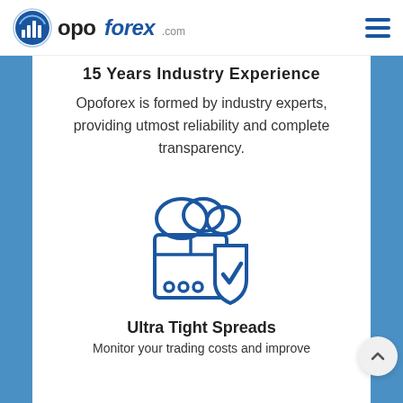Opoforex.com
15 Years Industry Experience
Opoforex is formed by industry experts, providing utmost reliability and complete transparency.
[Figure (illustration): Blue outline icon of a shipping box/package with a shield and checkmark overlay, and cloud above — representing secure trading or safe funds.]
Ultra Tight Spreads
Monitor your trading costs and improve